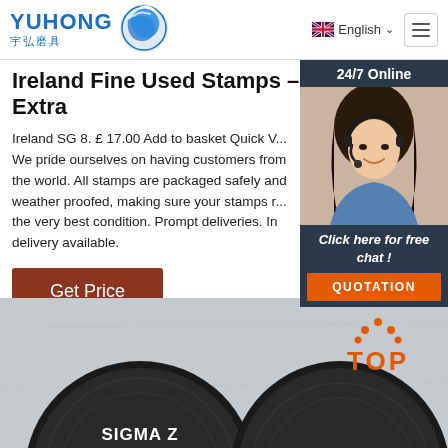YUHONG 宇弘磨具 — English navigation header with hamburger menu
Ireland Fine Used Stamps – Robstine Extra
Ireland SG 8. £ 17.00 Add to basket Quick V... We pride ourselves on having customers from the world. All stamps are packaged safely and weather proofed, making sure your stamps r... the very best condition. Prompt deliveries. In delivery available.
[Figure (screenshot): 24/7 Online chat widget with photo of woman wearing headset and 'Click here for free chat!' text and QUOTATION button]
Get Price
[Figure (photo): Bottom section showing circular abrasive discs labeled SIGMA Z on grey background with TOP badge in orange]